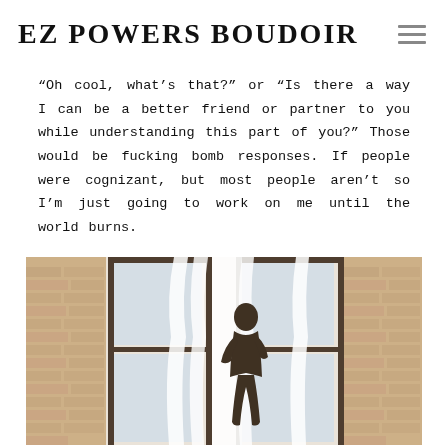EZ POWERS BOUDOIR
“Oh cool, what’s that?” or “Is there a way I can be a better friend or partner to you while understanding this part of you?” Those would be fucking bomb responses. If people were cognizant, but most people aren’t so I’m just going to work on me until the world burns.
[Figure (photo): A person standing between two large windows with white sheer curtains in a room with exposed brick walls. The figure is in silhouette/shadow, posing in lingerie.]